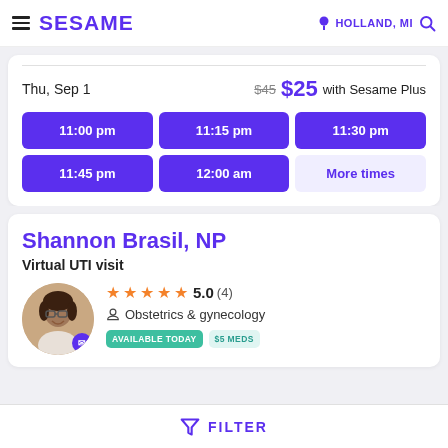SESAME | HOLLAND, MI
Thu, Sep 1   $45  $25 with Sesame Plus
| Col1 | Col2 | Col3 |
| --- | --- | --- |
| 11:00 pm | 11:15 pm | 11:30 pm |
| 11:45 pm | 12:00 am | More times |
Shannon Brasil, NP
Virtual UTI visit
5.0 (4)  Obstetrics & gynecology
AVAILABLE TODAY  $5 MEDS
FILTER